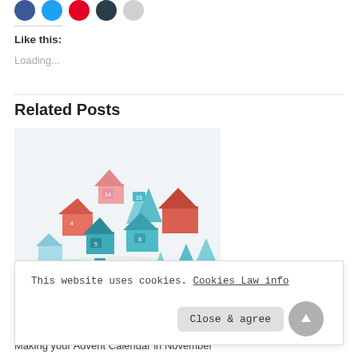[Figure (illustration): Row of social sharing icon circles: blue (Facebook), light blue (Twitter), red (Pinterest), dark navy (LinkedIn), light gray (more)]
Like this:
Loading...
Related Posts
[Figure (photo): Photo of colorful paper craft advent calendar houses and Christmas trees arranged on a white surface, with small numbered boxes in teal, coral/red, and light blue colors.]
This website uses cookies. Cookies Law info
Close & agree
Making your Advent Calendar in November